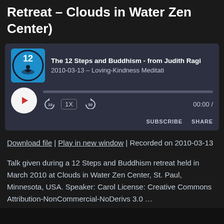12 Steps and Buddhism Retreat – Clouds in Water Zen Center)
[Figure (screenshot): Podcast audio player widget with thumbnail showing number 12 and meditation figure, track title 'The 12 Steps and Buddhism - from Judith Ragi...', subtitle '2010-03-13 - Loving-Kindness Meditati...', play button, progress bar, playback speed 1X, skip controls 10s back and 30s forward, time 00:00, SUBSCRIBE and SHARE buttons]
Download file | Play in new window | Recorded on 2010-03-13
Talk given during a 12 Steps and Buddhism retreat held in March 2010 at Clouds in Water Zen Center, St. Paul, Minnesota, USA. Speaker: Carol License: Creative Commons Attribution-NonCommercial-NoDerivs 3.0 … Continue reading